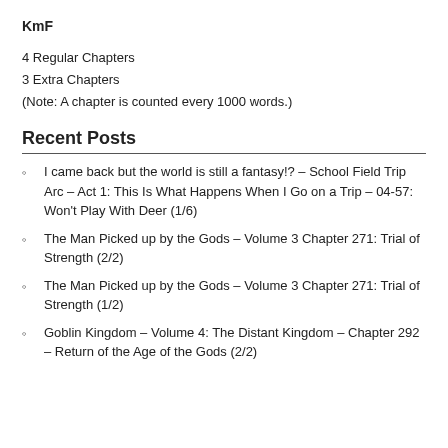KmF
4 Regular Chapters
3 Extra Chapters
(Note: A chapter is counted every 1000 words.)
Recent Posts
I came back but the world is still a fantasy!? – School Field Trip Arc – Act 1: This Is What Happens When I Go on a Trip – 04-57: Won't Play With Deer (1/6)
The Man Picked up by the Gods – Volume 3 Chapter 271: Trial of Strength (2/2)
The Man Picked up by the Gods – Volume 3 Chapter 271: Trial of Strength (1/2)
Goblin Kingdom – Volume 4: The Distant Kingdom – Chapter 292 – Return of the Age of the Gods (2/2)